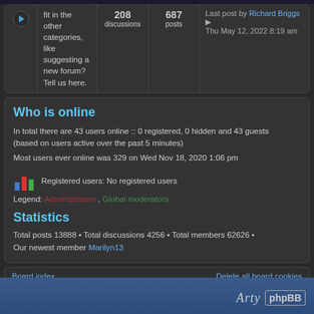fit in the other categories, like suggesting a new forum? Tell us here.
208 discussions
687 posts
Last post by Richard Briggs Thu May 12, 2022 8:19 am
Who is online
In total there are 43 users online :: 0 registered, 0 hidden and 43 guests (based on users active over the past 5 minutes)
Most users ever online was 329 on Wed Nov 18, 2020 1:06 pm
Registered users: No registered users
Legend: Administrators , Global moderators
Statistics
Total posts 13888 • Total discussions 4256 • Total members 62626 • Our newest member Marilyn13
Board index    Delete all board cookies